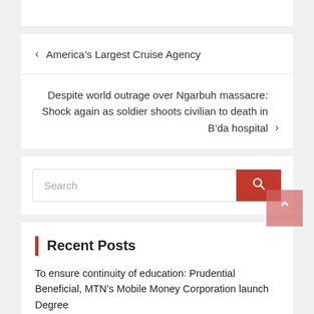< America's Largest Cruise Agency
Despite world outrage over Ngarbuh massacre: Shock again as soldier shoots civilian to death in B'da hospital >
Search
Recent Posts
To ensure continuity of education: Prudential Beneficial, MTN's Mobile Money Corporation launch Degree